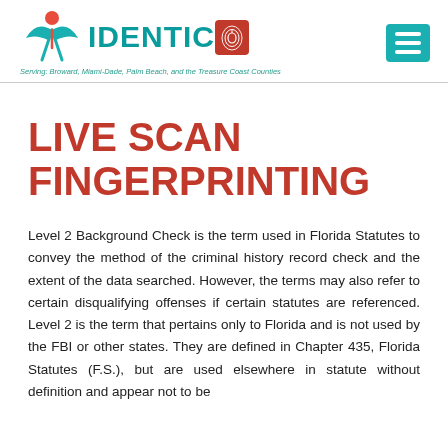[Figure (logo): IDENTICO logo with stylized figure icon, teal text reading IDENTICО with fingerprint O in red box, tagline: Serving: Broward, Miami-Dade, Palm Beach, and the Treasure Coast Counties]
LIVE SCAN FINGERPRINTING
Level 2 Background Check is the term used in Florida Statutes to convey the method of the criminal history record check and the extent of the data searched. However, the terms may also refer to certain disqualifying offenses if certain statutes are referenced. Level 2 is the term that pertains only to Florida and is not used by the FBI or other states. They are defined in Chapter 435, Florida Statutes (F.S.), but are used elsewhere in statute without definition and appear not to be